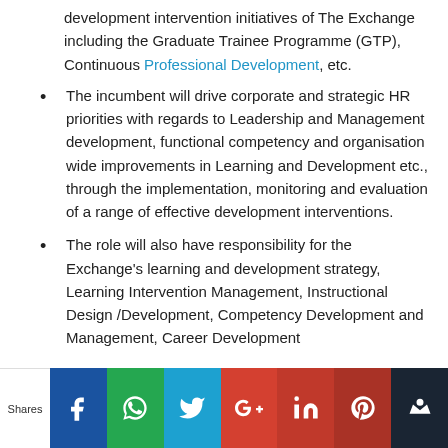development intervention initiatives of The Exchange including the Graduate Trainee Programme (GTP), Continuous Professional Development, etc.
The incumbent will drive corporate and strategic HR priorities with regards to Leadership and Management development, functional competency and organisation wide improvements in Learning and Development etc., through the implementation, monitoring and evaluation of a range of effective development interventions.
The role will also have responsibility for the Exchange’s learning and development strategy, Learning Intervention Management, Instructional Design /Development, Competency Development and Management, Career Development